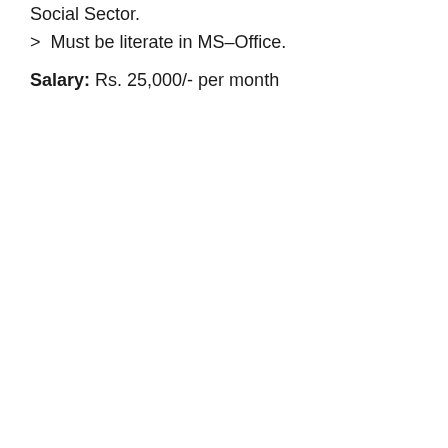Social Sector.
>  Must be literate in MS–Office.
Salary: Rs. 25,000/- per month